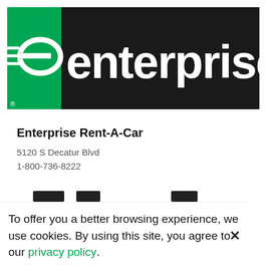[Figure (logo): Enterprise Rent-A-Car logo: green square on left with white stylized 'e' and horizontal lines, black background on right with large white lowercase 'enterprise' text. Small registered trademark symbol at bottom left of green square.]
Enterprise Rent-A-Car
5120 S Decatur Blvd
1-800-736-8222
[Figure (other): Three dark horizontal bar/button elements partially visible at bottom of main content area]
To offer you a better browsing experience, we use cookies. By using this site, you agree to our privacy policy.